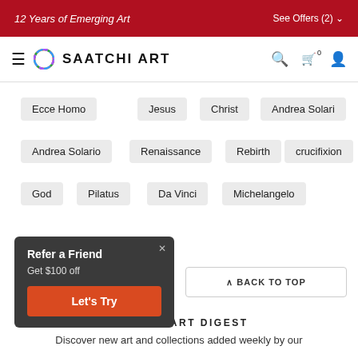12 Years of Emerging Art | See Offers (2)
[Figure (logo): Saatchi Art logo with colorful circle and bold text SAATCHI ART, plus hamburger menu, search, cart, and user icons]
Ecce Homo
Jesus
Christ
Andrea Solari
Andrea Solario
Renaissance
Rebirth
crucifixion
God
Pilatus
Da Vinci
Michelangelo
Refer a Friend
Get $100 off
Let's Try
BACK TO TOP
SAATCHI ART DIGEST
Discover new art and collections added weekly by our